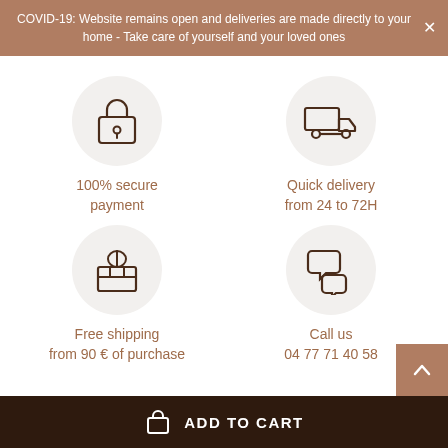COVID-19: Website remains open and deliveries are made directly to your home - Take care of yourself and your loved ones
[Figure (illustration): Lock icon in gray circle representing 100% secure payment]
100% secure payment
[Figure (illustration): Delivery truck icon in gray circle representing quick delivery]
Quick delivery from 24 to 72H
[Figure (illustration): Gift box icon in gray circle representing free shipping]
Free shipping from 90 € of purchase
[Figure (illustration): Chat bubbles icon in gray circle representing call us]
Call us 04 77 71 40 58
ADD TO CART